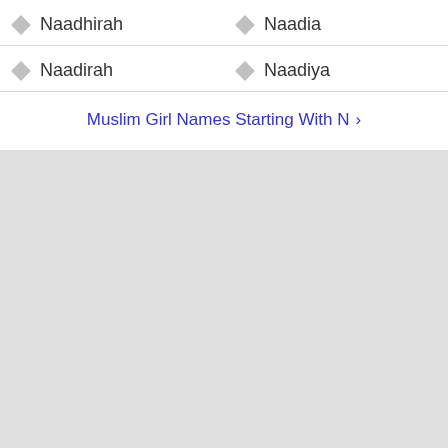Naadhirah
Naadia
Naadirah
Naadiya
Muslim Girl Names Starting With N >